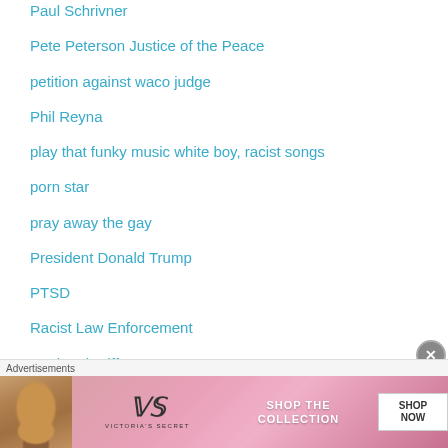Paul Schrivner
Pete Peterson Justice of the Peace
petition against waco judge
Phil Reyna
play that funky music white boy, racist songs
porn star
pray away the gay
President Donald Trump
PTSD
Racist Law Enforcement
Racist Sheriffs
[Figure (other): Victoria's Secret advertisement banner with a woman's photo, VS logo, 'SHOP THE COLLECTION' text, and 'SHOP NOW' button]